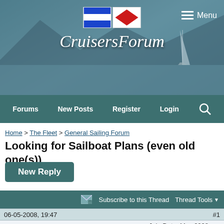[Figure (screenshot): CruisersForum website header with nautical flags logo, site name in cursive script, and background showing mountain/water scene with sailboat]
Menu
Forums | New Posts | Register | Login
Home > The Fleet > General Sailing Forum
Looking for Sailboat Plans (even old one(s))
New Reply
Subscribe to this Thread   Thread Tools
06-05-2008, 19:47   #1
Myles alan   Join Date: May 2008   Location: Cincinnati, OH   Posts: 6
Looking for Sailboat Plans (even old one(s))